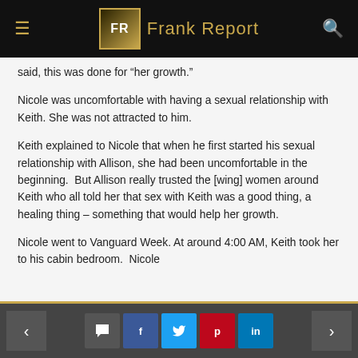Frank Report
said, this was done for “her growth.”
Nicole was uncomfortable with having a sexual relationship with Keith. She was not attracted to him.
Keith explained to Nicole that when he first started his sexual relationship with Allison, she had been uncomfortable in the beginning.  But Allison really trusted the [wing] women around Keith who all told her that sex with Keith was a good thing, a healing thing – something that would help her growth.
Nicole went to Vanguard Week. At around 4:00 AM, Keith took her to his cabin bedroom.  Nicole
< comment f t p in >